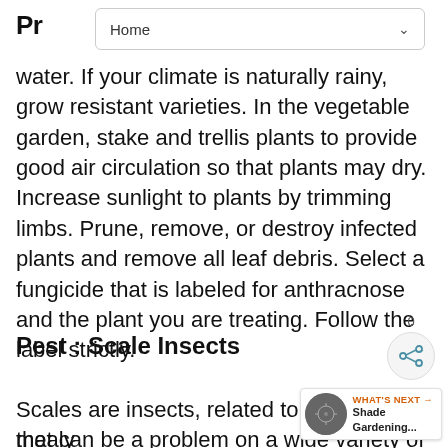Home
Pr[une]
water. If your climate is naturally rainy, grow resistant varieties. In the vegetable garden, stake and trellis plants to provide good air circulation so that plants may dry. Increase sunlight to plants by trimming limbs. Prune, remove, or destroy infected plants and remove all leaf debris. Select a fungicide that is labeled for anthracnose and the plant you are treating. Follow the label strictly.
Pest : Scale Insects
Scales are insects, related to mealy that can be a problem on a wide variety of plants - indoor and outdoor. Young scales